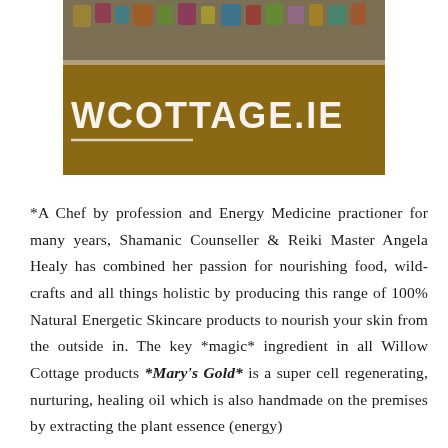[Figure (photo): A wooden market stall/box display with colorful products and a sign reading 'WCOTTAGE.IE' (Willow Cottage .ie) in white text on a wooden board. Various colored items visible on top.]
*A Chef by profession and Energy Medicine practioner for many years, Shamanic Counseller & Reiki Master Angela Healy has combined her passion for nourishing food, wild-crafts and all things holistic by producing this range of 100% Natural Energetic Skincare products to nourish your skin from the outside in. The key *magic* ingredient in all Willow Cottage products *Mary's Gold* is a super cell regenerating, nurturing, healing oil which is also handmade on the premises by extracting the plant essence (energy)